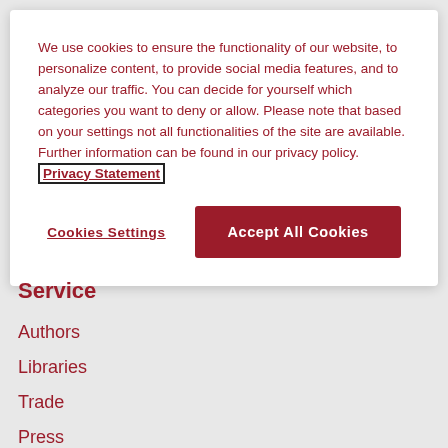We use cookies to ensure the functionality of our website, to personalize content, to provide social media features, and to analyze our traffic. You can decide for yourself which categories you want to deny or allow. Please note that based on your settings not all functionalities of the site are available. Further information can be found in our privacy policy. Privacy Statement
Cookies Settings
Accept All Cookies
Service
Authors
Libraries
Trade
Press